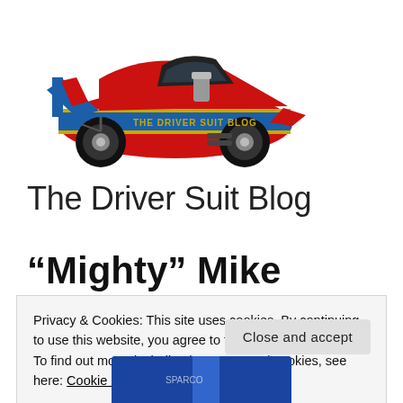[Figure (logo): Drag racing funny car illustration in red and blue with 'THE DRIVER SUIT BLOG' text on side]
The Driver Suit Blog
“Mighty” Mike Niemann
Privacy & Cookies: This site uses cookies. By continuing to use this website, you agree to their use.
To find out more, including how to control cookies, see here: Cookie Policy
Close and accept
[Figure (photo): Partial view of a racing suit at the bottom of the page]